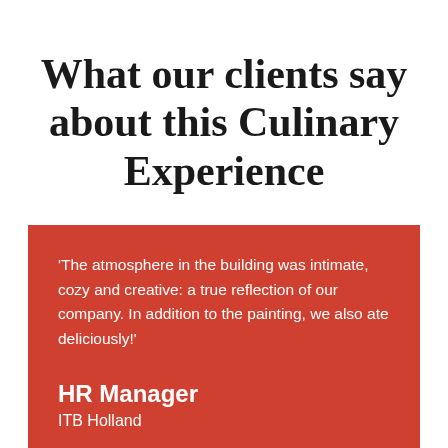What our clients say about this Culinary Experience
'The atmosphere in the building was intimate, cozy and creative: a true reflection of our company. In addition to the painting, we also ate deliciously!'
HR Manager
ITB Holland